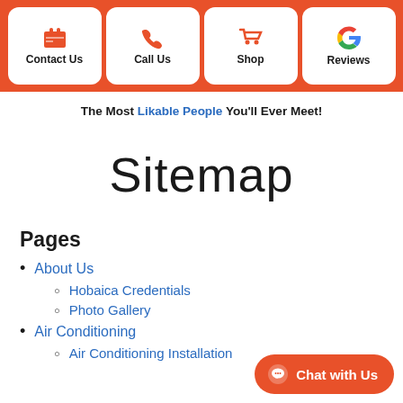Contact Us | Call Us | Shop | Reviews
The Most Likable People You'll Ever Meet!
Sitemap
Pages
About Us
Hobaica Credentials
Photo Gallery
Air Conditioning
Air Conditioning Installation